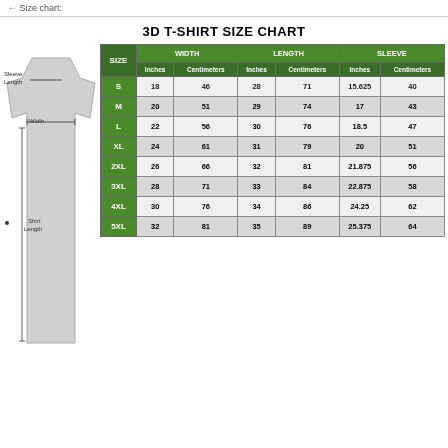Size chart:
3D T-SHIRT SIZE CHART
[Figure (illustration): T-shirt diagram showing measurement labels: Sleeve Length, Width, and Shirt Length with arrows indicating each dimension]
| SIZE | WIDTH Inches | WIDTH Centimeters | LENGTH Inches | LENGTH Centimeters | SLEEVE Inches | SLEEVE Centimeters |
| --- | --- | --- | --- | --- | --- | --- |
| S | 18 | 46 | 28 | 71 | 15.625 | 40 |
| M | 20 | 51 | 29 | 74 | 17 | 43 |
| L | 22 | 56 | 30 | 76 | 18.5 | 47 |
| XL | 24 | 61 | 31 | 79 | 20 | 51 |
| 2XL | 26 | 66 | 32 | 81 | 21.875 | 56 |
| 3XL | 28 | 71 | 33 | 84 | 22.875 | 58 |
| 4XL | 30 | 76 | 34 | 86 | 24.25 | 62 |
| 5XL | 32 | 81 | 35 | 89 | 25.375 | 64 |